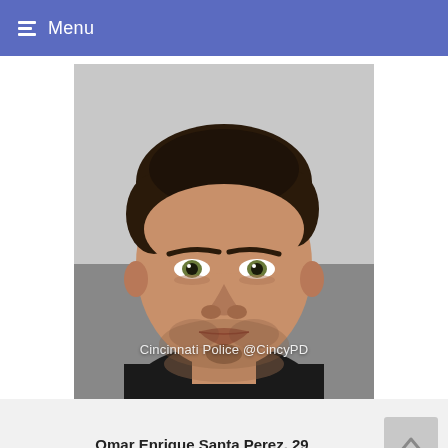Menu
[Figure (photo): Police mugshot of Omar Enrique Santa Perez, 29, with watermark text 'Cincinnati Police @CincyPD']
Omar Enrique Santa Perez, 29